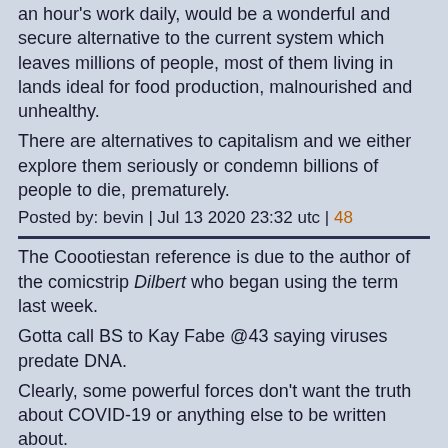an hour's work daily, would be a wonderful and secure alternative to the current system which leaves millions of people, most of them living in lands ideal for food production, malnourished and unhealthy.
There are alternatives to capitalism and we either explore them seriously or condemn billions of people to die, prematurely.
Posted by: bevin | Jul 13 2020 23:32 utc | 48
The Coootiestan reference is due to the author of the comicstrip Dilbert who began using the term last week.

Gotta call BS to Kay Fabe @43 saying viruses predate DNA.

Clearly, some powerful forces don't want the truth about COVID-19 or anything else to be written about.
Posted by: karlof1 | Jul 13 2020 23:32 utc | 49
Kay Fabe @Jul13 22:26 #43:
... an extended lockdown when there are no excess deaths begs the question. Why lockdown in the first place?